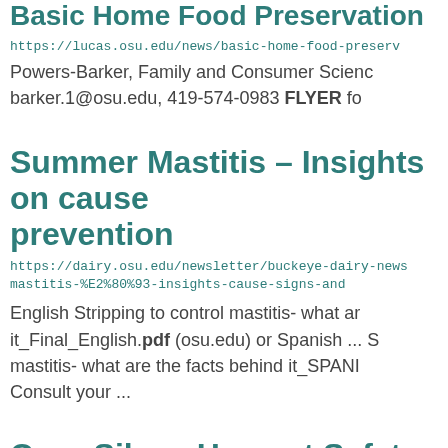Basic Home Food Preservation
https://lucas.osu.edu/news/basic-home-food-preserv
Powers-Barker, Family and Consumer Scienc
barker.1@osu.edu, 419-574-0983 FLYER fo
Summer Mastitis – Insights on cause prevention
https://dairy.osu.edu/newsletter/buckeye-dairy-news mastitis-%E2%80%93-insights-cause-signs-and
English Stripping to control mastitis- what ar it_Final_English.pdf (osu.edu) or Spanish ... S mastitis- what are the facts behind it_SPANI Consult your ...
Corn Silage Harvest Safety Should B